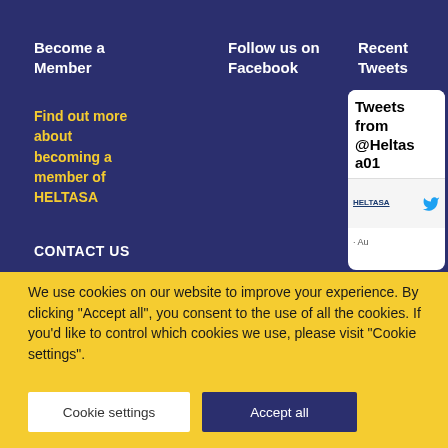Become a Member
Follow us on Facebook
Recent Tweets
Find out more about becoming a member of HELTASA
CONTACT US
[Figure (screenshot): Embedded Twitter/X widget showing 'Tweets from @Heltasa01' with HELTASA logo and partial tweet visible]
We use cookies on our website to improve your experience. By clicking "Accept all", you consent to the use of all the cookies. If you'd like to control which cookies we use, please visit "Cookie settings".
Cookie settings
Accept all